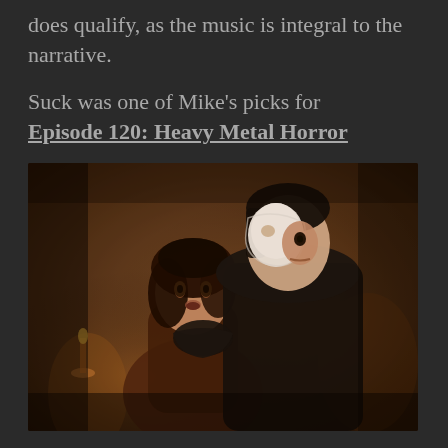does qualify, as the music is integral to the narrative.
Suck was one of Mike's picks for Episode 120: Heavy Metal Horror
[Figure (photo): A woman with curly dark hair looks up with a surprised expression while a man wearing a white half-mask (Phantom of the Opera style) stands behind her, wearing a black coat. The scene is lit with warm, amber tones suggesting candlelight.]